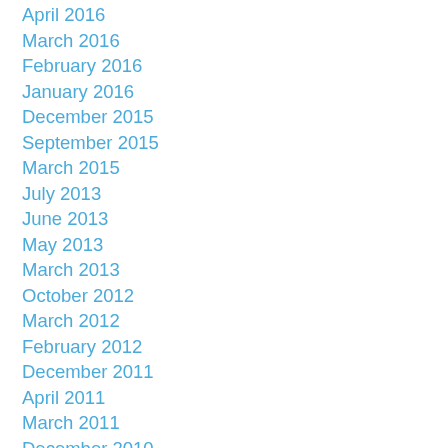April 2016
March 2016
February 2016
January 2016
December 2015
September 2015
March 2015
July 2013
June 2013
May 2013
March 2013
October 2012
March 2012
February 2012
December 2011
April 2011
March 2011
December 2010
November 2010
September 2010
August 2010